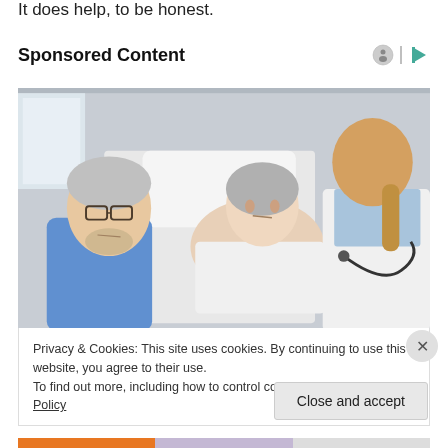It does help, to be honest.
Sponsored Content
[Figure (photo): An older woman lying in a hospital bed, looking concerned, with an older man beside her and a female doctor in a white coat with stethoscope speaking to them.]
Privacy & Cookies: This site uses cookies. By continuing to use this website, you agree to their use.
To find out more, including how to control cookies, see here: Cookie Policy